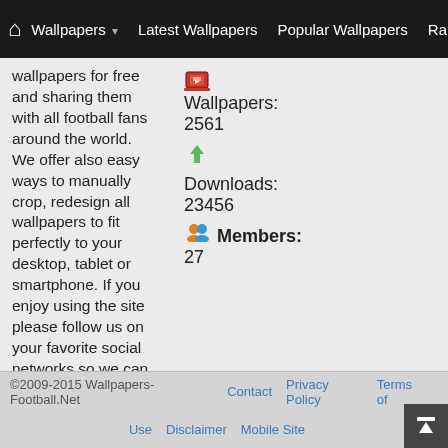Wallpapers | Latest Wallpapers | Popular Wallpapers | Rando
wallpapers for free and sharing them with all football fans around the world. We offer also easy ways to manually crop, redesign all wallpapers to fit perfectly to your desktop, tablet or smartphone. If you enjoy using the site please follow us on your favorite social networks so we can grow up and enjoy the Football Magic together.
Wallpapers: 2561
Downloads: 23456
Members: 27
©2009-2015 Wallpapers-Football.Net   Contact   Privacy Policy   Terms of Use   Disclaimer   Mobile Site